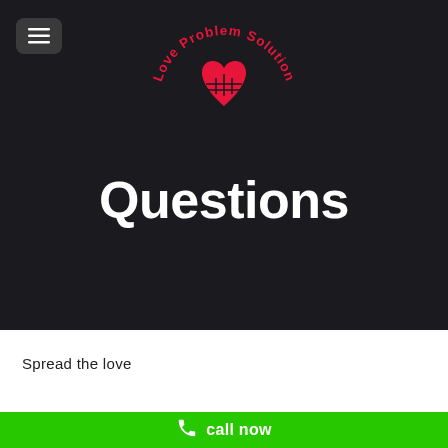[Figure (logo): Love Problem Solution logo — red arched text 'Love Problem Solution' with a red heart containing a grid pattern in the center, on dark background]
Questions
Spread the love
call now